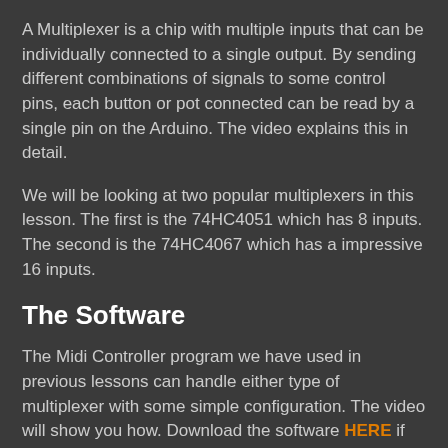A Multiplexer is a chip with multiple inputs that can be individually connected to a single output. By sending different combinations of signals to some control pins, each button or pot connected can be read by a single pin on the Arduino. The video explains this in detail.
We will be looking at two popular multiplexers in this lesson. The first is the 74HC4051 which has 8 inputs. The second is the 74HC4067 which has a impressive 16 inputs.
The Software
The Midi Controller program we have used in previous lessons can handle either type of multiplexer with some simple configuration. The video will show you how. Download the software HERE if you don't have it yet.
Stuff you need (With Amazon links)
Here are the parts you will need to do the experiment: